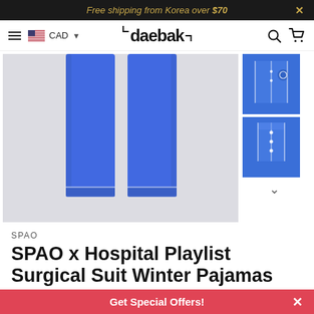Free shipping from Korea over $70
[Figure (logo): Daebak e-commerce website navigation bar with hamburger menu, US flag, CAD currency selector, daebak logo, search and cart icons]
[Figure (photo): Blue SPAO x Hospital Playlist surgical suit winter pajamas pants laid flat on light grey background]
[Figure (photo): Thumbnail of blue SPAO x Hospital Playlist pajama top with logo]
[Figure (photo): Thumbnail of blue SPAO x Hospital Playlist pajama top detail]
SPAO
SPAO x Hospital Playlist Surgical Suit Winter Pajamas
Get Special Offers!